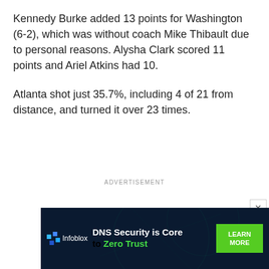Kennedy Burke added 13 points for Washington (6-2), which was without coach Mike Thibault due to personal reasons. Alysha Clark scored 11 points and Ariel Atkins had 10.
Atlanta shot just 35.7%, including 4 of 21 from distance, and turned it over 23 times.
ADVERTISEMENT
[Figure (other): Infoblox advertisement banner: DNS Security is Core to Zero Trust, with Learn More button]